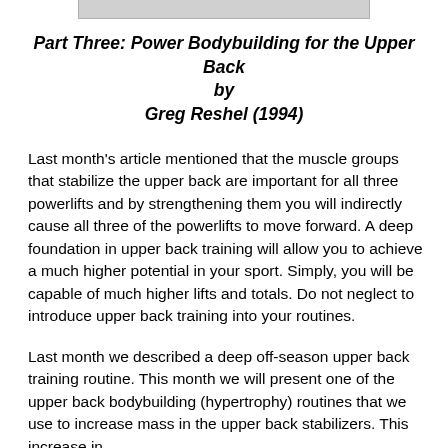[Figure (other): Partial image visible at top of page, shown as a gray bar cropped at the top edge]
Part Three: Power Bodybuilding for the Upper Back by Greg Reshel (1994)
Last month's article mentioned that the muscle groups that stabilize the upper back are important for all three powerlifts and by strengthening them you will indirectly cause all three of the powerlifts to move forward. A deep foundation in upper back training will allow you to achieve a much higher potential in your sport. Simply, you will be capable of much higher lifts and totals. Do not neglect to introduce upper back training into your routines.
Last month we described a deep off-season upper back training routine. This month we will present one of the upper back bodybuilding (hypertrophy) routines that we use to increase mass in the upper back stabilizers. This increase in